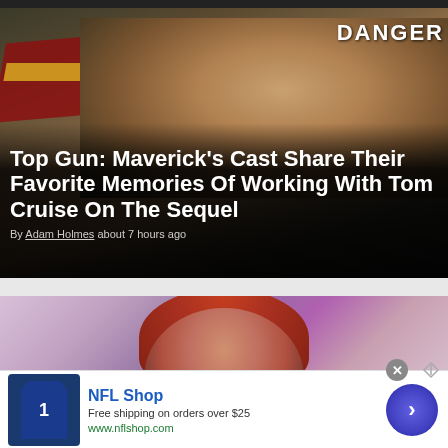[Figure (photo): Tom Cruise as Maverick in Top Gun: Maverick, close-up shot with DANGER sign visible in background, dark cinematic scene]
Top Gun: Maverick's Cast Share Their Favorite Memories Of Working With Tom Cruise On The Sequel
By Adam Holmes about 7 hours ago
[Figure (photo): Woman with red/auburn hair against purple background, partial upper body shot]
NFL Shop
Free shipping on orders over $25
www.nflshop.com